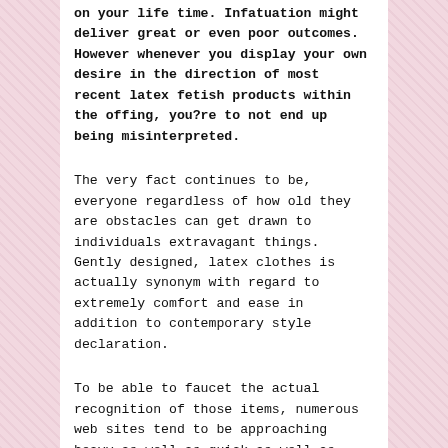on your life time. Infatuation might deliver great or even poor outcomes. However whenever you display your own desire in the direction of most recent latex fetish products within the offing, you?re to not end up being misinterpreted.
The very fact continues to be, everyone regardless of how old they are obstacles can get drawn to individuals extravagant things. Gently designed, latex clothes is actually synonym with regard to extremely comfort and ease in addition to contemporary style declaration.
To be able to faucet the actual recognition of those items, numerous web sites tend to be approaching heavy as well as quick as well as practically surging the marketplace along with various custom fetish products. Nevertheless, numerous clients help to make issues concerning the caliber of suppliers utilized in their own producing